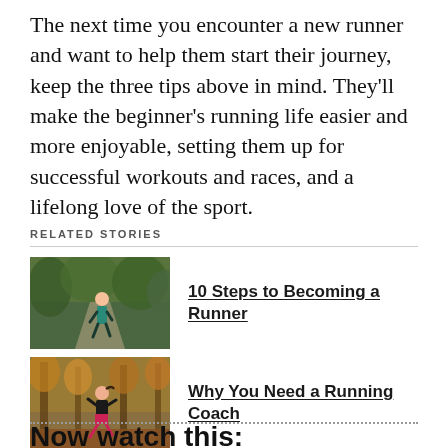The next time you encounter a new runner and want to help them start their journey, keep the three tips above in mind. They'll make the beginner's running life easier and more enjoyable, setting them up for successful workouts and races, and a lifelong love of the sport.
RELATED STORIES
[Figure (photo): A person running outdoors on a path surrounded by trees]
10 Steps to Becoming a Runner
[Figure (photo): A woman runner stretching or running in a wooded autumn setting]
Why You Need a Running Coach
Now watch this: